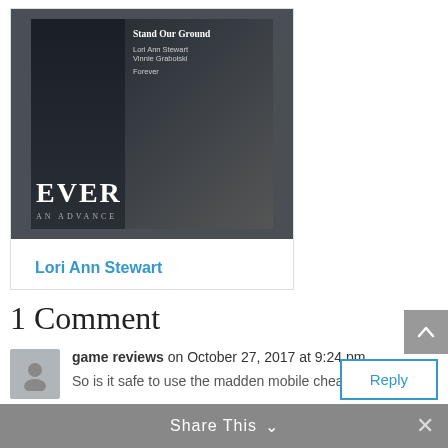[Figure (illustration): Book cover image showing 'Stand Our Ground' by Lori Ann Stewart and Vinnie Grabolski, Forever imprint, with dark moody background]
Lori Ann Stewart
1 Comment
game reviews on October 27, 2017 at 9:24 pm
So is it safe to use the madden mobile cheat?